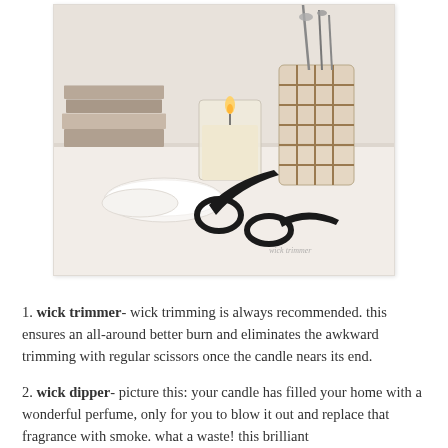[Figure (photo): A styled flat-lay photo showing candle care accessories on a white surface: a lit candle in a glass jar, a wicker-wrapped glass vase with tools, black wick trimmer scissors in the foreground, books stacked on the left, and a small white dish. Watermark reads 'wick trimmer' in the lower right.]
1. wick trimmer- wick trimming is always recommended. this ensures an all-around better burn and eliminates the awkward trimming with regular scissors once the candle nears its end.
2. wick dipper- picture this: your candle has filled your home with a wonderful perfume, only for you to blow it out and replace that fragrance with smoke. what a waste! this brilliant